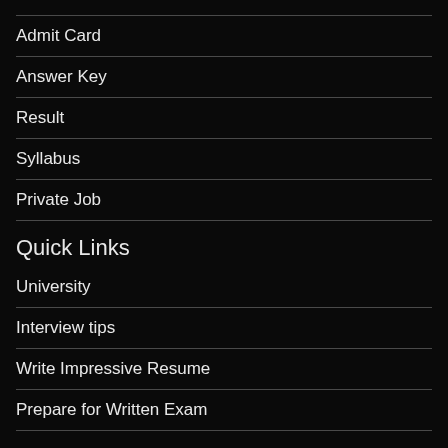Admit Card
Answer Key
Result
Syllabus
Private Job
Quick Links
University
Interview tips
Write Impressive Resume
Prepare for Written Exam